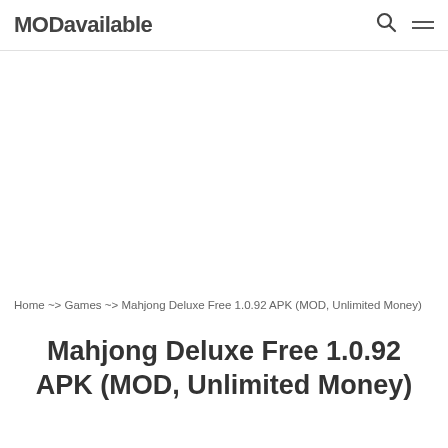MODavailable
[Figure (other): Advertisement / blank white area]
Home ~> Games ~> Mahjong Deluxe Free 1.0.92 APK (MOD, Unlimited Money)
Mahjong Deluxe Free 1.0.92 APK (MOD, Unlimited Money)